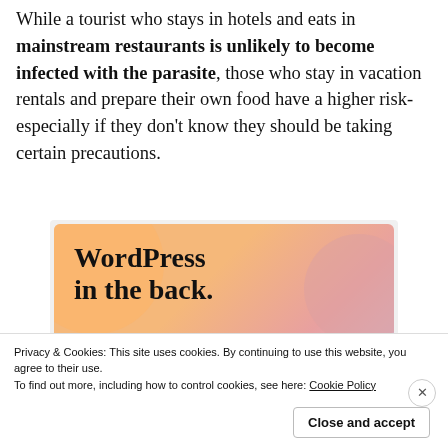While a tourist who stays in hotels and eats in mainstream restaurants is unlikely to become infected with the parasite, those who stay in vacation rentals and prepare their own food have a higher risk- especially if they don't know they should be taking certain precautions.
[Figure (other): WordPress advertisement with colorful gradient background (orange, pink, purple blobs) showing text 'WordPress in the back.' with WordPress logo and a button]
Privacy & Cookies: This site uses cookies. By continuing to use this website, you agree to their use. To find out more, including how to control cookies, see here: Cookie Policy